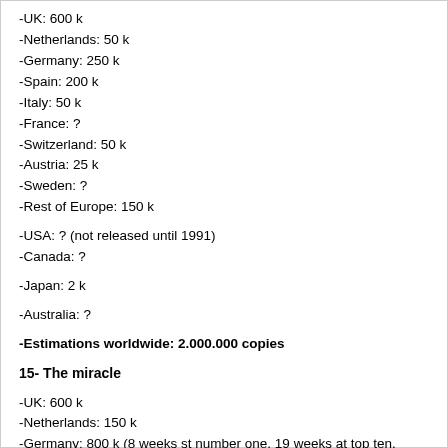-UK: 600 k
-Netherlands: 50 k
-Germany: 250 k
-Spain: 200 k
-Italy: 50 k
-France: ?
-Switzerland: 50 k
-Austria: 25 k
-Sweden: ?
-Rest of Europe: 150 k
-USA: ? (not released until 1991)
-Canada: ?
-Japan: 2 k
-Australia: ?
-Estimations worldwide: 2.000.000 copies
15- The miracle
-UK: 600 k
-Netherlands: 150 k
-Germany: 800 k (8 weeks st number one, 19 weeks at top ten. Certified 500 k in 1990)
-Spain: 300 k (160 k only in cd´s)
-Italy: 300k (number 3, and top 20 of the year-end charts of 1989)
-France: 200 k